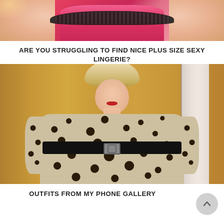[Figure (photo): Close-up photo of a plus-size woman wearing a pink/red lingerie top with black lace trim, cropped at chest level]
ARE YOU STRUGGLING TO FIND NICE PLUS SIZE SEXY LINGERIE?
[Figure (photo): Full-body photo of a plus-size woman with blonde hair and red lipstick wearing a leopard print dress with a black belt, standing in front of a gold/beige wall and door frame]
OUTFITS FROM MY PHONE GALLERY